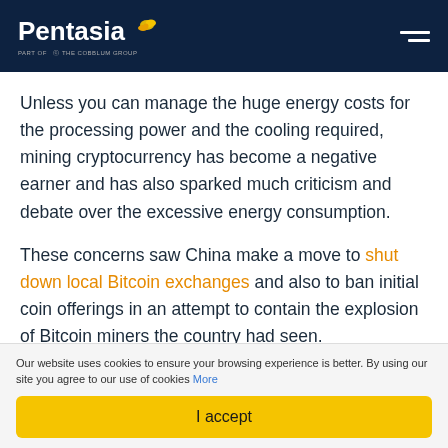Pentasia
Unless you can manage the huge energy costs for the processing power and the cooling required, mining cryptocurrency has become a negative earner and has also sparked much criticism and debate over the excessive energy consumption.
These concerns saw China make a move to shut down local Bitcoin exchanges and also to ban initial coin offerings in an attempt to contain the explosion of Bitcoin miners the country had seen.
Our website uses cookies to ensure your browsing experience is better. By using our site you agree to our use of cookies More
I accept